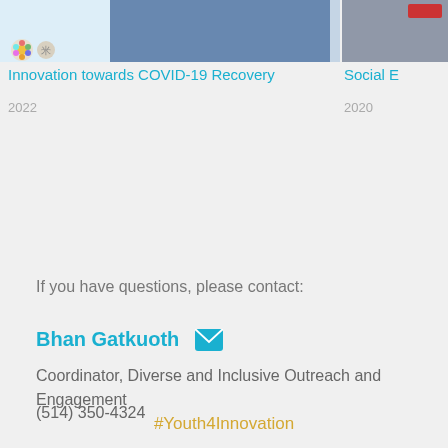[Figure (photo): Partial photo of a person in blue denim shirt, top portion cropped. Left card image with small emoji/icon badge in lower left corner.]
Innovation towards COVID-19 Recovery
2022
[Figure (photo): Partial right-side card image, cropped, showing grey background with a red element in top right.]
Social E...
2020
If you have questions, please contact:
Bhan Gatkuoth
Coordinator, Diverse and Inclusive Outreach and Engagement
(514) 350-4324
#Youth4Innovation